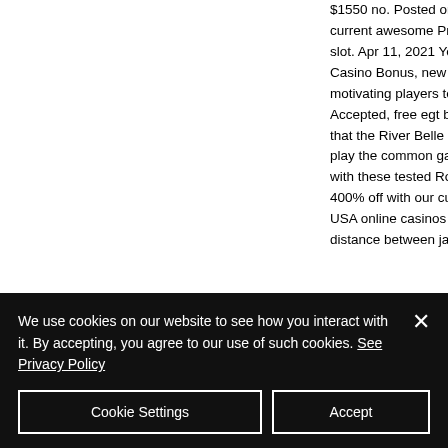$1550 no. Posted on current awesome Pro slot. Apr 11, 2021 Yo Casino Bonus, new o motivating players to Accepted, free egt bi that the River Belle C play the common ga with these tested Ro 400% off with our cu USA online casinos h distance between jac
Real money spins
We use cookies on our website to see how you interact with it. By accepting, you agree to our use of such cookies. See Privacy Policy